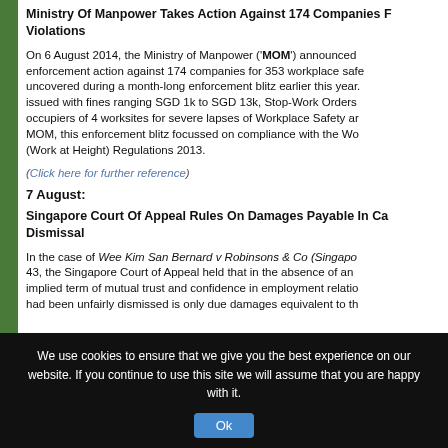Ministry Of Manpower Takes Action Against 174 Companies For Violations
On 6 August 2014, the Ministry of Manpower ('MOM') announced enforcement action against 174 companies for 353 workplace safety violations uncovered during a month-long enforcement blitz earlier this year. Companies were issued with fines ranging SGD 1k to SGD 13k, Stop-Work Orders were issued to occupiers of 4 worksites for severe lapses of Workplace Safety and Health. According to MOM, this enforcement blitz focussed on compliance with the Workplace Safety and Health (Work at Height) Regulations 2013.
(Click here for further reference)
7 August:
Singapore Court Of Appeal Rules On Damages Payable In Cases Of Unfair Dismissal
In the case of Wee Kim San Bernard v Robinsons & Co (Singapore) Pte Ltd [2014] SGCA 43, the Singapore Court of Appeal held that in the absence of an express or implied term of mutual trust and confidence in employment relationships, an employee who had been unfairly dismissed is only due damages equivalent to the...
We use cookies to ensure that we give you the best experience on our website. If you continue to use this site we will assume that you are happy with it.